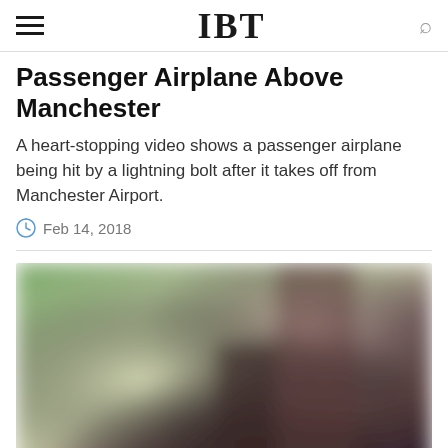IBT
Passenger Airplane Above Manchester
A heart-stopping video shows a passenger airplane being hit by a lightning bolt after it takes off from Manchester Airport.
Feb 14, 2018
[Figure (photo): Blurred photograph, appears to show a person outdoors with green and brown tones, heavily blurred/pixelated]